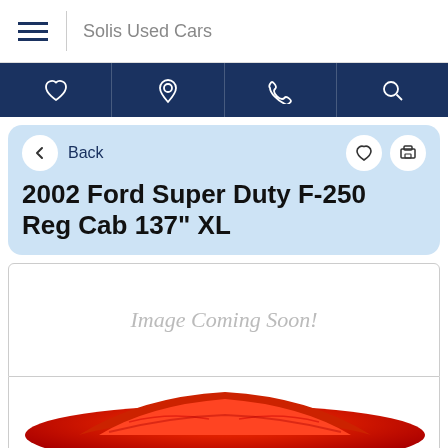Solis Used Cars
[Figure (screenshot): Navigation icon bar with heart, location pin, phone, and search icons on dark navy background]
Back
2002 Ford Super Duty F-250 Reg Cab 137" XL
[Figure (photo): Image Coming Soon placeholder with red cloth-draped car silhouette below]